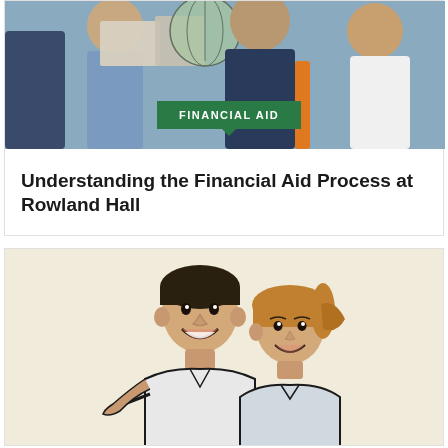[Figure (photo): Group of students holding papers and a globe in a classroom setting, wearing casual clothes]
FINANCIAL AID
Understanding the Financial Aid Process at Rowland Hall
[Figure (illustration): Line drawing illustration of two smiling students (a boy and a girl) on a beige/cream background]